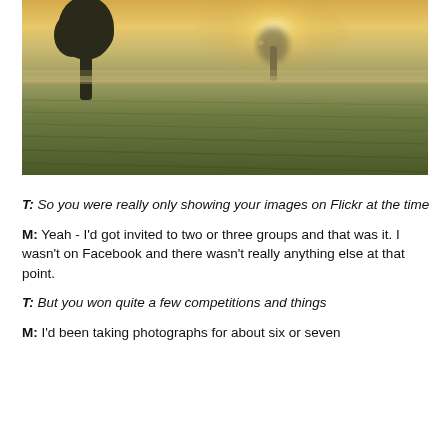[Figure (photo): Landscape photograph of a misty field at sunrise or sunset with two trees silhouetted against a warm golden hazy sky. The foreground is a green crop field.]
T: So you were really only showing your images on Flickr at the time
M: Yeah - I'd got invited to two or three groups and that was it. I wasn't on Facebook and there wasn't really anything else at that point.
T: But you won quite a few competitions and things
M: I'd been taking photographs for about six or seven